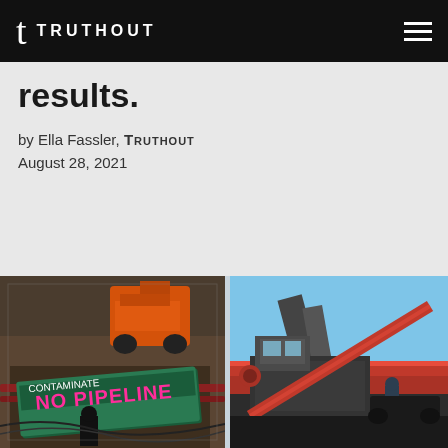TRUTHOUT
results.
by Ella Fassler, TRUTHOUT
August 28, 2021
[Figure (photo): Two construction site photos: left shows protest banner reading 'No Pipelines' or similar anti-pipeline sign in a dirt trench with excavation equipment and orange machinery in background; right shows heavy pipeline laying machinery with red pipe sections against a blue sky.]